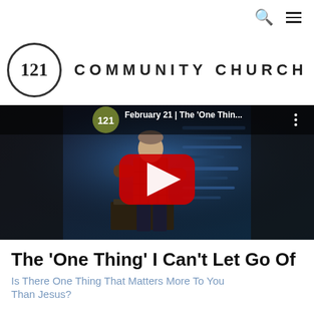🔍 ☰
[Figure (logo): 121 Community Church logo with circle containing '121' and bold uppercase text 'COMMUNITY CHURCH']
[Figure (screenshot): YouTube video thumbnail showing a man in a plaid shirt standing at a pulpit on a church stage with blue lighting. Video title: 'February 21 | The One Thin...' with a YouTube play button overlay.]
The 'One Thing' I Can't Let Go Of
Is There One Thing That Matters More To You Than Jesus?